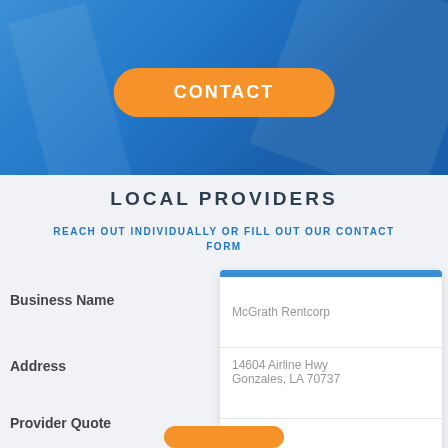CONTACT
LOCAL PROVIDERS
REACH OUT INDIVIDUALLY OR FILL OUT OUR CONTACT FORM
| Field | Value |
| --- | --- |
| Business Name | McGrath Rentcorp |
| Address | 14604 Airline Hwy
Gonzales, LA 70737 |
| Provider Quote |  |